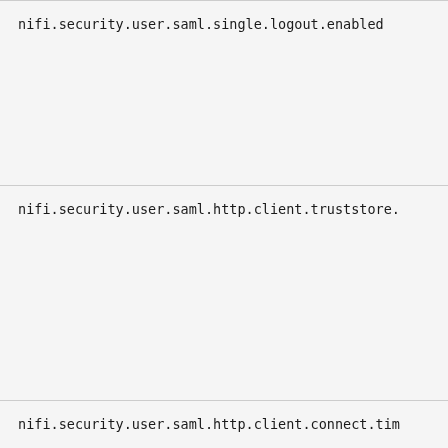nifi.security.user.saml.single.logout.enabled
nifi.security.user.saml.http.client.truststore.
nifi.security.user.saml.http.client.connect.tim
nifi.security.user.saml.http.client.read.timeou